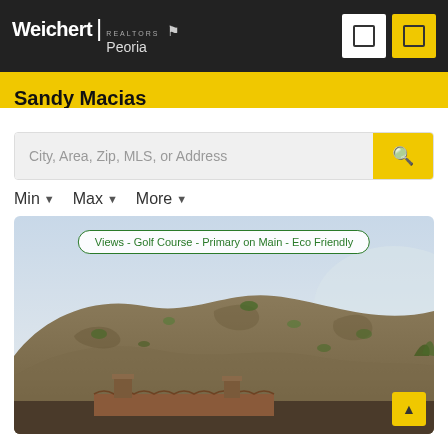Weichert | Realtors Peoria
Sandy Macias
City, Area, Zip, MLS, or Address
Min  Max  More
[Figure (photo): Desert hillside with house rooftop visible at bottom, showing mountain landscape with sparse vegetation and cloudy sky]
Views - Golf Course - Primary on Main - Eco Friendly